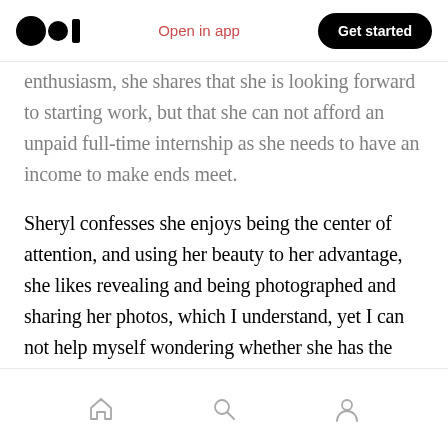Medium logo | Open in app | Get started
enthusiasm, she shares that she is looking forward to starting work, but that she can not afford an unpaid full-time internship as she needs to have an income to make ends meet.
Sheryl confesses she enjoys being the center of attention, and using her beauty to her advantage, she likes revealing and being photographed and sharing her photos, which I understand, yet I can not help myself wondering whether she has the privilege of choice on the matter, and whether she is aware of this.
Home | Search | Profile